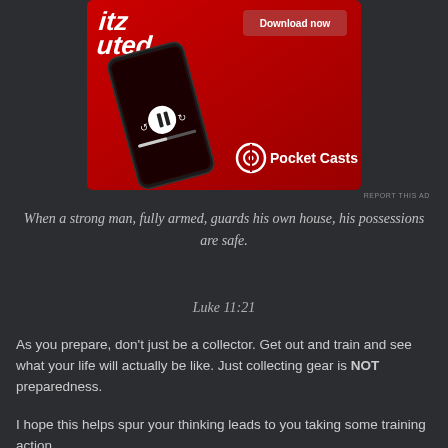[Figure (screenshot): Pocket Casts app advertisement on red background showing a phone with a podcast player UI, a 'Download now' button, and the Pocket Casts logo]
REPORT THIS AD
When a strong man, fully armed, guards his own house, his possessions are safe.
Luke 11:21
As you prepare, don't just be a collector. Get out and train and see what your life will actually be like. Just collecting gear is NOT preparedness.
I hope this helps spur your thinking leads to you taking some training action.